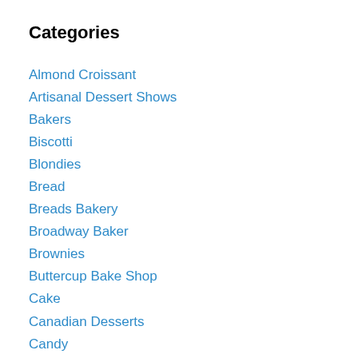Categories
Almond Croissant
Artisanal Dessert Shows
Bakers
Biscotti
Blondies
Bread
Breads Bakery
Broadway Baker
Brownies
Buttercup Bake Shop
Cake
Canadian Desserts
Candy
Cheesecake
Cherry Desserts
Choccolate Chip Cookies
Chocolate